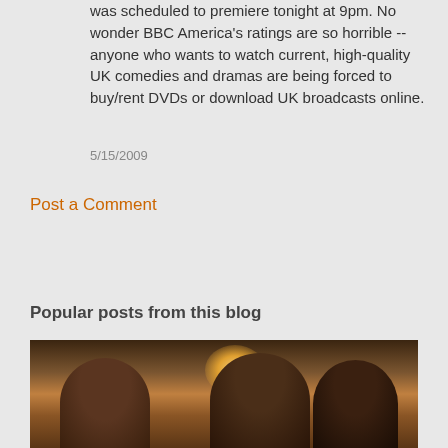was scheduled to premiere tonight at 9pm. No wonder BBC America's ratings are so horrible -- anyone who wants to watch current, high-quality UK comedies and dramas are being forced to buy/rent DVDs or download UK broadcasts online.
5/15/2009
Post a Comment
Popular posts from this blog
[Figure (photo): Photo of three people sitting together, likely in a restaurant or bar setting with warm lighting in the background.]